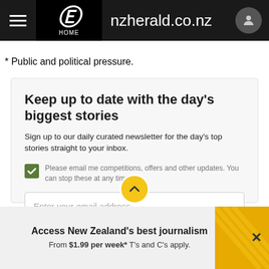nzherald.co.nz
* Public and political pressure.
Keep up to date with the day's biggest stories
Sign up to our daily curated newsletter for the day's top stories straight to your inbox.
Please email me competitions, offers and other updates. You can stop these at any time.
Enter your email address
Access New Zealand's best journalism
From $1.99 per week* T's and C's apply.